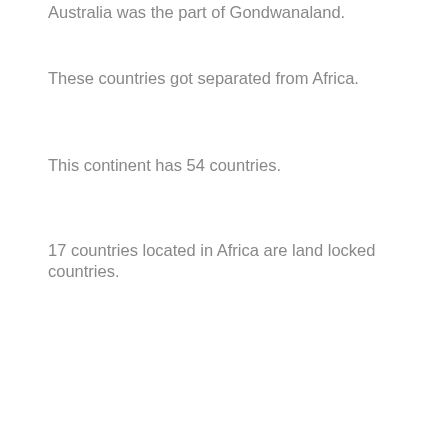Australia was the part of Gondwanaland.
These countries got separated from Africa.
This continent has 54 countries.
17 countries located in Africa are land locked countries.